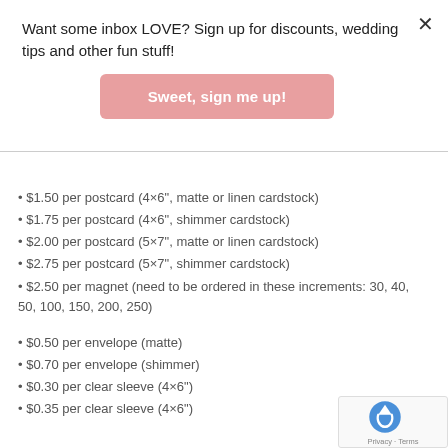Want some inbox LOVE? Sign up for discounts, wedding tips and other fun stuff!
Sweet, sign me up!
$1.50 per postcard (4×6", matte or linen cardstock)
$1.75 per postcard (4×6", shimmer cardstock)
$2.00 per postcard (5×7", matte or linen cardstock)
$2.75 per postcard (5×7", shimmer cardstock)
$2.50 per magnet (need to be ordered in these increments: 30, 40, 50, 100, 150, 200, 250)
$0.50 per envelope (matte)
$0.70 per envelope (shimmer)
$0.30 per clear sleeve (4×6")
$0.35 per clear sleeve (4×6")